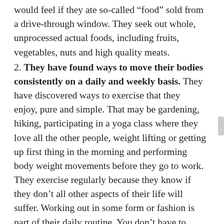would feel if they ate so-called “food” sold from a drive-through window. They seek out whole, unprocessed actual foods, including fruits, vegetables, nuts and high quality meats.
2. They have found ways to move their bodies consistently on a daily and weekly basis. They have discovered ways to exercise that they enjoy, pure and simple. That may be gardening, hiking, participating in a yoga class where they love all the other people, weight lifting or getting up first thing in the morning and performing body weight movements before they go to work. They exercise regularly because they know if they don’t all other aspects of their life will suffer. Working out in some form or fashion is part of their daily routine. You don’t have to explain to them why.
3. They...